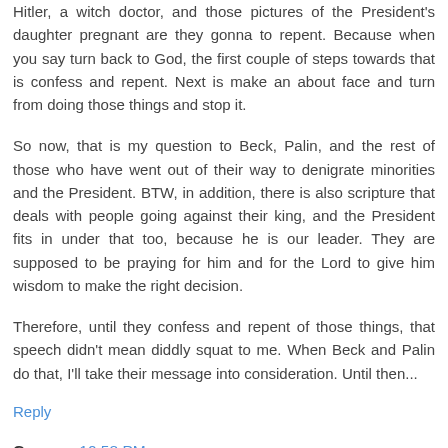Hitler, a witch doctor, and those pictures of the President's daughter pregnant are they gonna to repent. Because when you say turn back to God, the first couple of steps towards that is confess and repent. Next is make an about face and turn from doing those things and stop it.
So now, that is my question to Beck, Palin, and the rest of those who have went out of their way to denigrate minorities and the President. BTW, in addition, there is also scripture that deals with people going against their king, and the President fits in under that too, because he is our leader. They are supposed to be praying for him and for the Lord to give him wisdom to make the right decision.
Therefore, until they confess and repent of those things, that speech didn't mean diddly squat to me. When Beck and Palin do that, I'll take their message into consideration. Until then...
Reply
Gregory 10:58 PM